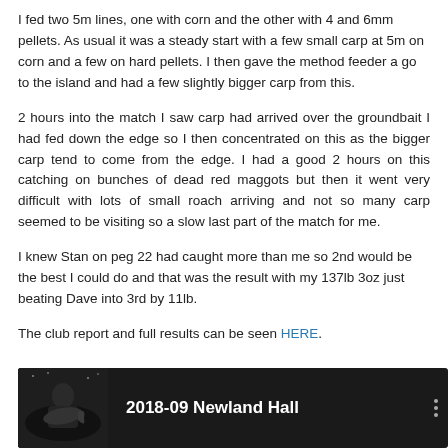I fed two 5m lines, one with corn and the other with 4 and 6mm pellets. As usual it was a steady start with a few small carp at 5m on corn and a few on hard pellets. I then gave the method feeder a go to the island and had a few slightly bigger carp from this.
2 hours into the match I saw carp had arrived over the groundbait I had fed down the edge so I then concentrated on this as the bigger carp tend to come from the edge. I had a good 2 hours on this catching on bunches of dead red maggots but then it went very difficult with lots of small roach arriving and not so many carp seemed to be visiting so a slow last part of the match for me.
I knew Stan on peg 22 had caught more than me so 2nd would be the best I could do and that was the result with my 137lb 3oz just beating Dave into 3rd by 11lb.
The club report and full results can be seen HERE.
[Figure (screenshot): Video thumbnail showing a person holding a fish at night with text '2018-09 Newland Hall']